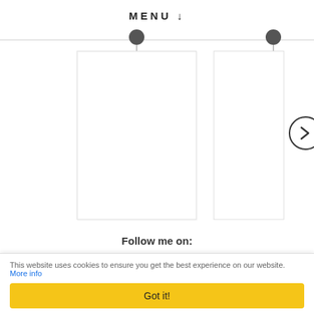MENU ↓
[Figure (screenshot): A card carousel showing two white rectangular cards hanging from pinned circles on a horizontal line, with a right-arrow navigation button on the right side.]
Follow me on:
♥ BLOGLOVIN' / FACEBOOK / TWITTER / INSTAGRAM ♥
This website uses cookies to ensure you get the best experience on our website. More info
Got it!